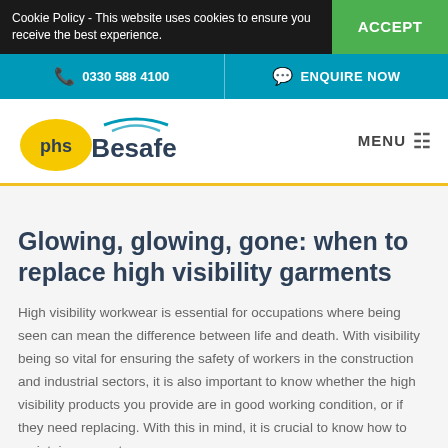Cookie Policy - This website uses cookies to ensure you receive the best experience. ACCEPT
0330 588 4100   ENQUIRE NOW
[Figure (logo): phs Besafe logo with yellow oval phs mark and blue Besafe text with arc graphic]
Glowing, glowing, gone: when to replace high visibility garments
High visibility workwear is essential for occupations where being seen can mean the difference between life and death. With visibility being so vital for ensuring the safety of workers in the construction and industrial sectors, it is also important to know whether the high visibility products you provide are in good working condition, or if they need replacing. With this in mind, it is crucial to know how to maintain garments